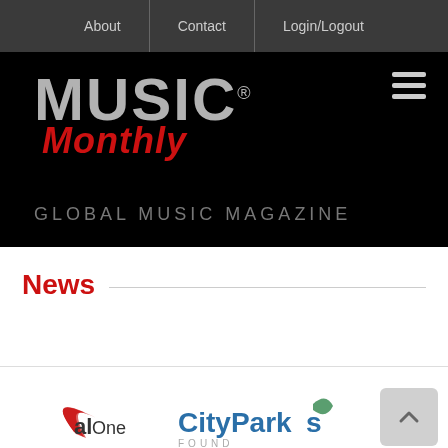About | Contact | Login/Logout
[Figure (logo): Music Monthly - Global Music Magazine logo on black background with hamburger menu icon]
News
[Figure (logo): Partial logos: Capital One, CityParks Foundation, and a scroll-to-top button. Bottom shows partial text in large dark blue letters partially cut off.]